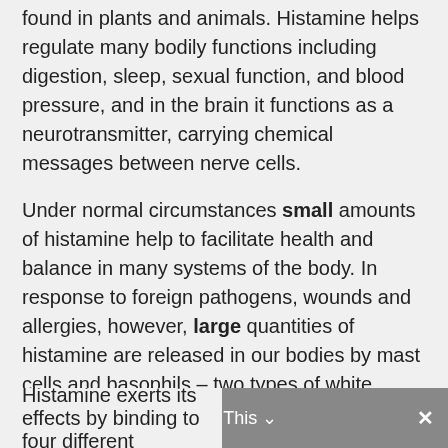found in plants and animals. Histamine helps regulate many bodily functions including digestion, sleep, sexual function, and blood pressure, and in the brain it functions as a neurotransmitter, carrying chemical messages between nerve cells.
Under normal circumstances small amounts of histamine help to facilitate health and balance in many systems of the body. In response to foreign pathogens, wounds and allergies, however, large quantities of histamine are released in our bodies by mast cells and basophils – two types of white blood cells that reside in blood and tissues respectively. People with allergies often take antihistamine medications to provide relief of symptoms associated with this inflammatory response.
Histamine exerts its effects by binding to four different